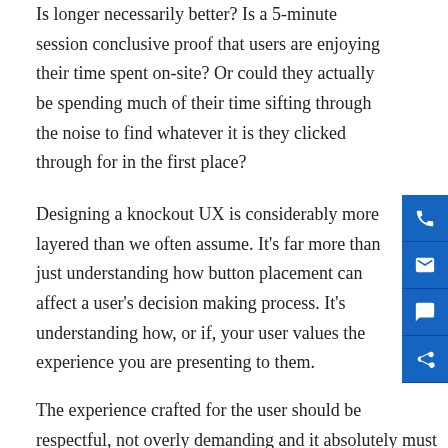Is longer necessarily better? Is a 5-minute session conclusive proof that users are enjoying their time spent on-site? Or could they actually be spending much of their time sifting through the noise to find whatever it is they clicked through for in the first place?
Designing a knockout UX is considerably more layered than we often assume. It's far more than just understanding how button placement can affect a user's decision making process. It's understanding how, or if, your user values the experience you are presenting to them.
The experience crafted for the user should be respectful, not overly demanding and it absolutely must serve a purpose. When we think of the user experience here at Connect, we like to refer back to the tried and tested tale of Goldilocks – identifying the client and user's personal measure of "just